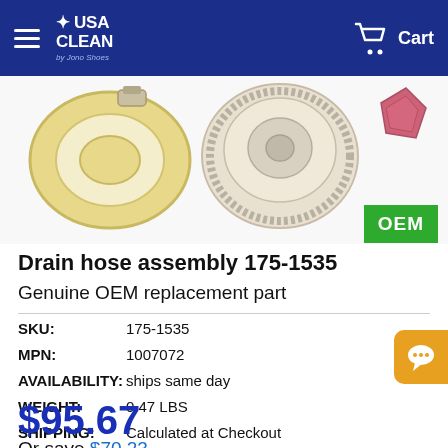USA Clean by Jono Shoes — Cart
[Figure (photo): Product images: coiled yellow drain hose assembly and a round white scrub pad/brush on white background]
Drain hose assembly 175-1535
Genuine OEM replacement part
SKU: 175-1535
MPN: 1007072
AVAILABILITY: ships same day
WEIGHT: 0.47 LBS
SHIPPING: Calculated at Checkout
$95.67
Or save $70.23